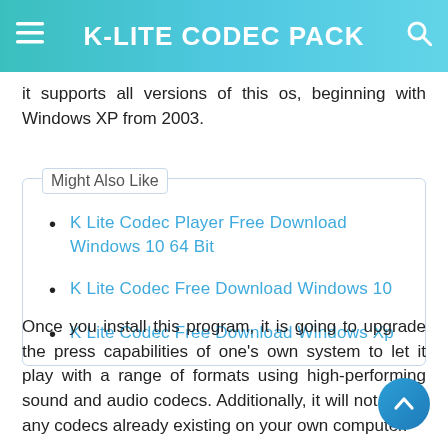K-LITE CODEC PACK
it supports all versions of this os, beginning with Windows XP from 2003.
Might Also Like
K Lite Codec Player Free Download Windows 10 64 Bit
K Lite Codec Free Download Windows 10
K Lite Codec Free Download Windows Xp
Once you install this program, it is going to upgrade the press capabilities of one's own system to let it play with a range of formats using high-performing sound and audio codecs. Additionally, it will not install any codecs already existing on your own computer.